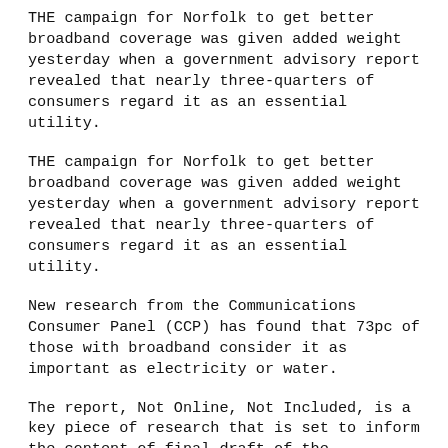THE campaign for Norfolk to get better broadband coverage was given added weight yesterday when a government advisory report revealed that nearly three-quarters of consumers regard it as an essential utility.
THE campaign for Norfolk to get better broadband coverage was given added weight yesterday when a government advisory report revealed that nearly three-quarters of consumers regard it as an essential utility.
New research from the Communications Consumer Panel (CCP) has found that 73pc of those with broadband consider it as important as electricity or water.
The report, Not Online, Not Included, is a key piece of research that is set to inform the content of final draft of the government's Digital Britain report.